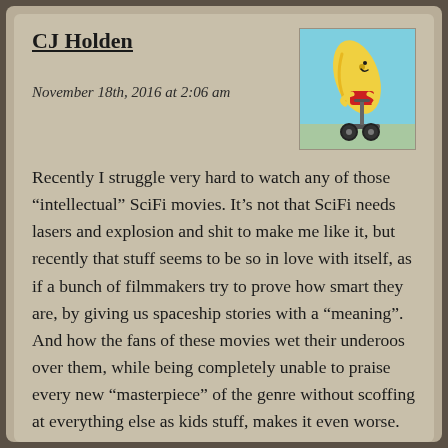CJ Holden
November 18th, 2016 at 2:06 am
[Figure (illustration): Cartoon banana character riding a segway scooter, illustrated in a colorful style with a light blue background]
Recently I struggle very hard to watch any of those “intellectual” SciFi movies. It’s not that SciFi needs lasers and explosion and shit to make me like it, but recently that stuff seems to be so in love with itself, as if a bunch of filmmakers try to prove how smart they are, by giving us spaceship stories with a “meaning”. And how the fans of these movies wet their underoos over them, while being completely unable to praise every new “masterpiece” of the genre without scoffing at everything else as kids stuff, makes it even worse.